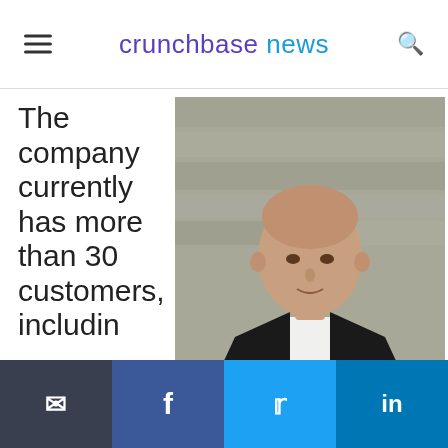crunchbase news
The company currently has more than 30 customers, includin
[Figure (photo): Professional headshot of LeanDNA CEO Richard Lebovitz, a middle-aged man in a dark suit with a grey stone wall background. Caption reads: LeanDNA CEO Richard Lebovitz]
LeanDNA CEO Richard Lebovitz
Email | Facebook | Twitter | LinkedIn social sharing buttons